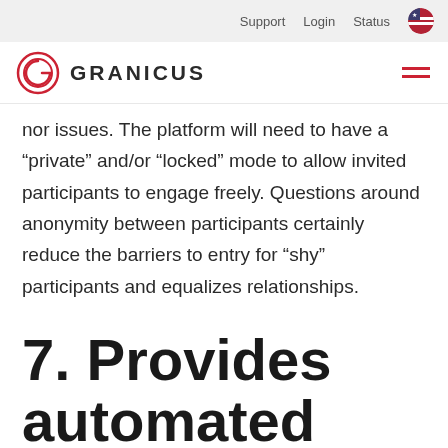Support  Login  Status
[Figure (logo): Granicus logo with circular G mark and GRANICUS wordmark]
nor issues. The platform will need to have a “private” and/or “locked” mode to allow invited participants to engage freely. Questions around anonymity between participants certainly reduce the barriers to entry for “shy” participants and equalizes relationships.
7. Provides automated